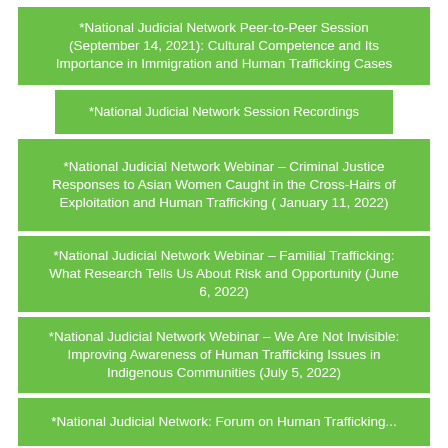*National Judicial Network Peer-to-Peer Session (September 14, 2021): Cultural Competence and Its Importance in Immigration and Human Trafficking Cases
*National Judicial Network Session Recordings
*National Judicial Network Webinar – Criminal Justice Responses to Asian Women Caught in the Cross-Hairs of Exploitation and Human Trafficking ( January 11, 2022)
*National Judicial Network Webinar – Familial Trafficking: What Research Tells Us About Risk and Opportunity (June 6, 2022)
*National Judicial Network Webinar – We Are Not Invisible: Improving Awareness of Human Trafficking Issues in Indigenous Communities (July 5, 2022)
*National Judicial Network: Forum on Human Trafficking...